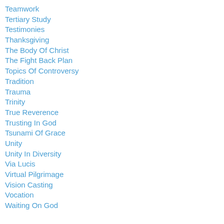Teamwork
Tertiary Study
Testimonies
Thanksgiving
The Body Of Christ
The Fight Back Plan
Topics Of Controversy
Tradition
Trauma
Trinity
True Reverence
Trusting In God
Tsunami Of Grace
Unity
Unity In Diversity
Via Lucis
Virtual Pilgrimage
Vision Casting
Vocation
Waiting On God